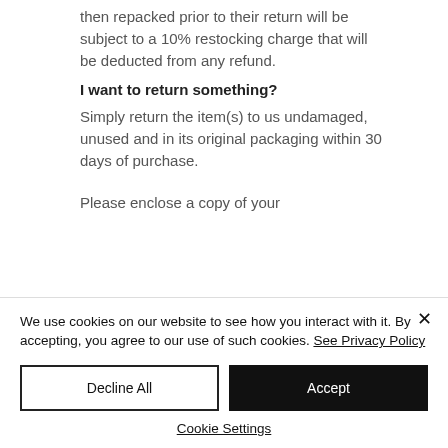then repacked prior to their return will be subject to a 10% restocking charge that will be deducted from any refund.
I want to return something?
Simply return the item(s) to us undamaged, unused and in its original packaging within 30 days of purchase.
Please enclose a copy of your
We use cookies on our website to see how you interact with it. By accepting, you agree to our use of such cookies. See Privacy Policy
Decline All
Accept
Cookie Settings